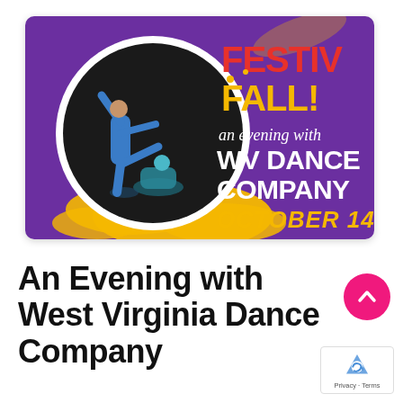[Figure (illustration): Promotional event poster on purple background: 'FestivFall! an evening with WV Dance Company October 14' with circular photo inset of dancers in blue costumes, yellow paint splash accents.]
An Evening with West Virginia Dance Company